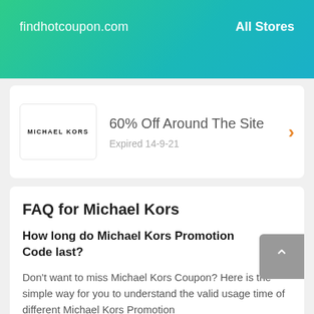findhotcoupon.com    All Stores
60% Off Around The Site
Expired 14-9-21
FAQ for Michael Kors
How long do Michael Kors Promotion Code last?
Don't want to miss Michael Kors Coupon? Here is the simple way for you to understand the valid usage time of different Michael Kors Promotion